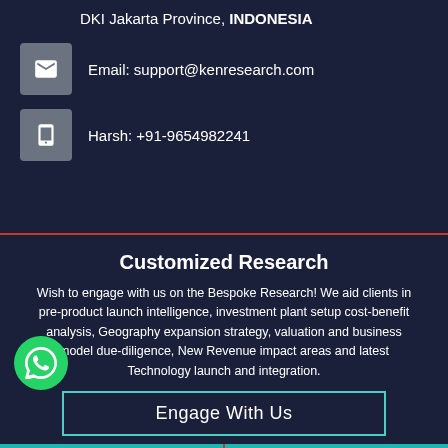DKI Jakarta Province, INDONESIA
Email: support@kenresearch.com
Harsh: +91-9654982241
Customized Research
Wish to engage with us on the Bespoke Research! We aid clients in pre-product launch intelligence, investment plant setup cost-benefit analysis, Geography expansion strategy, valuation and business model due-diligence, New Revenue impact areas and latest Technology launch and integration.
Engage With Us
REQUEST FOR SAMPLE REPORT
REQUEST A QUOTE
AN ANALYST
REQUEST CUSTOMIZATION